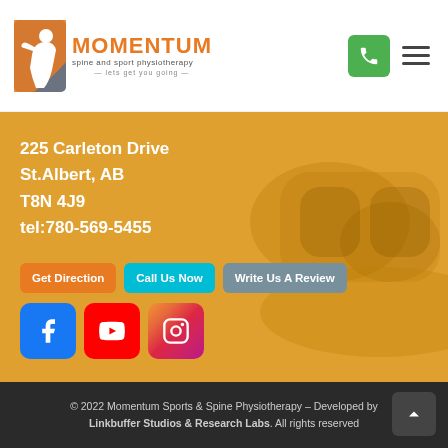[Figure (logo): Momentum Spine and Sport Physiotherapy logo with orange person icon and text 'lets get you going']
225 Carleton Drive
St.Albert, AB
T8N 4J9
tel:780-569-5455
Get Direction
Call Us Now
Write Us A Review
[Figure (logo): Facebook icon - blue square with white F]
[Figure (logo): YouTube icon - red square with white play button]
[Figure (logo): Instagram icon - gradient square with white camera]
© 2022 Momentum Sports & Spine Physiotherapy – Developed by Linkbuffer Studios & Research Labs. All rights reserved